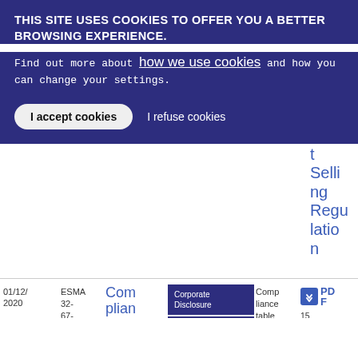THIS SITE USES COOKIES TO OFFER YOU A BETTER BROWSING EXPERIENCE.
Find out more about how we use cookies and how you can change your settings.
I accept cookies  I refuse cookies
t Selling Regulation
| Date | Reference | Title | Topic | Type | Download |
| --- | --- | --- | --- | --- | --- |
| 01/12/2020 | ESMA 32-67-142 | Compliance table on ESMA | Corporate Disclosure / IFRS Supervisory Convergence | Compliance table | PDF 15 0.56 KB |